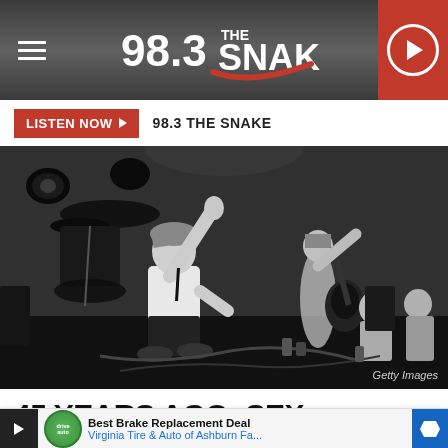98.3 THE SNAKE — header bar with hamburger menu, logo, and play button
LISTEN NOW ▶  98.3 THE SNAKE
[Figure (photo): Black and white concert photo of the Sex Pistols performing on stage. A singer in the foreground kneels with one arm raised, mouth open. A guitarist stands in the background playing an electric guitar. Audience members visible to the right. Stage equipment and lights in background. Getty Images watermark in bottom right.]
Getty Images
45 YEARS AGO: SEX PISTOLS UNL...K'
Best Brake Replacement Deal
Virginia Tire & Auto of Ashburn Fa...